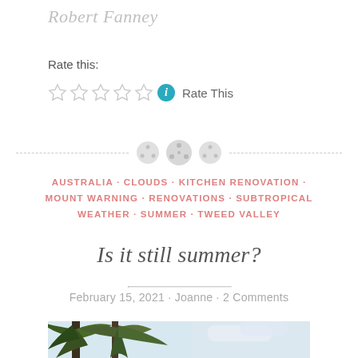Robert Fanney
Rate this:
[Figure (other): Five empty star rating widgets followed by a blue info icon and 'Rate This' text]
[Figure (other): Decorative divider with three button/circle icons on a dashed horizontal line]
AUSTRALIA · CLOUDS · KITCHEN RENOVATION · MOUNT WARNING · RENOVATIONS · SUBTROPICAL WEATHER · SUMMER · TWEED VALLEY
Is it still summer?
February 15, 2021 · Joanne · 2 Comments
[Figure (photo): Partial photo showing palm tree fronds on the left and cloudy sky on the right]